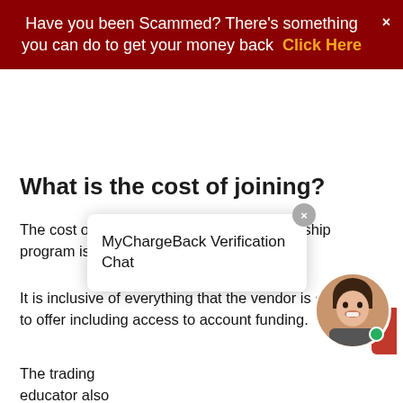Have you been Scammed? There's something you can do to get your money back  Click Here
What is the cost of joining?
The cost of Transparent FX Trading mentorship program is €680.
It is inclusive of everything that the vendor is claiming to offer including access to account funding.
The trading educator also provides access to a private Telegram group, a comp[lete mentorship and access] to live trading via Skype[...]
Trading results
We initially disputed this section of the review un[til our] doubts were countered by actual real trading results[...]
[Figure (other): MyChargeBack Verification Chat popup with close button and support avatar]